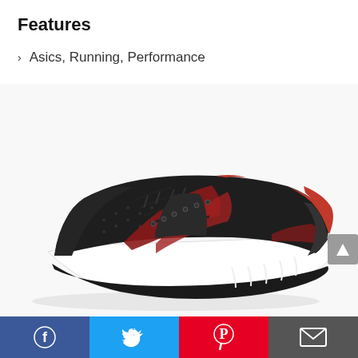Features
Asics, Running, Performance
[Figure (photo): ASICS running shoe with black mesh upper and red accents, white midsole, viewed from the side at a slight angle]
Facebook | Twitter | Pinterest | Email share icons